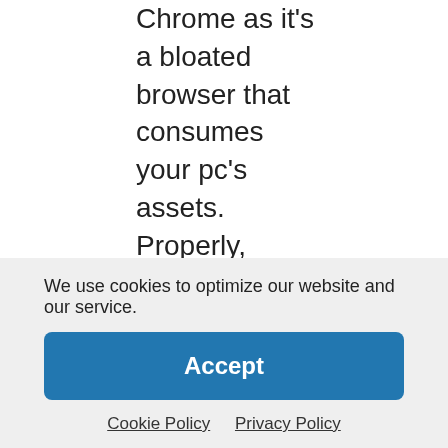Chrome as it's a bloated browser that consumes your pc's assets. Properly, Microsoft Edge simply bought worse. It began with good intentions, however Microsoft can not help itself. I actually wished to like Microsoft Edge. I began utilizing it on my desktop pc and Android telephone, and even … Read more
Categories: Microsoft
Tags: bigger, Chrome, Edge, Google, Microsoft
We use cookies to optimize our website and our service.
Accept
Cookie Policy  Privacy Policy